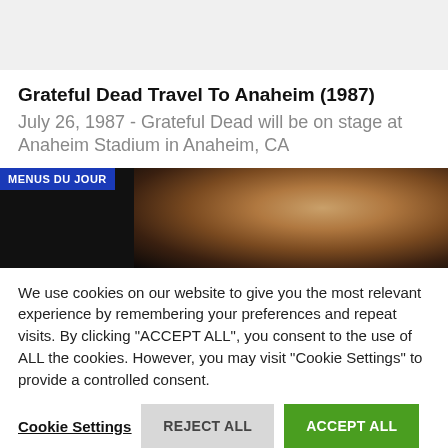[Figure (photo): Gray box at top of page, partially visible content area]
Grateful Dead Travel To Anaheim (1987)
July 26, 1987 - Grateful Dead will be on stage at Anaheim Stadium in Anaheim, CA
[Figure (photo): Dark banner image with a woman's face and hand visible, with a blue 'MENUS DU JOUR' label overlay in top left]
We use cookies on our website to give you the most relevant experience by remembering your preferences and repeat visits. By clicking "ACCEPT ALL", you consent to the use of ALL the cookies. However, you may visit "Cookie Settings" to provide a controlled consent.
Cookie Settings  REJECT ALL  ACCEPT ALL